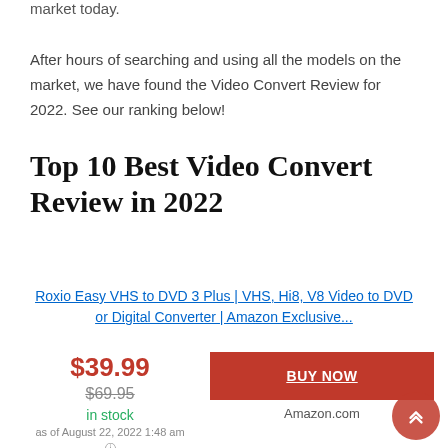market today.
After hours of searching and using all the models on the market, we have found the Video Convert Review for 2022. See our ranking below!
Top 10 Best Video Convert Review in 2022
Roxio Easy VHS to DVD 3 Plus | VHS, Hi8, V8 Video to DVD or Digital Converter | Amazon Exclusive...
$39.99
$69.95
in stock
as of August 22, 2022 1:48 am
BUY NOW
Amazon.com